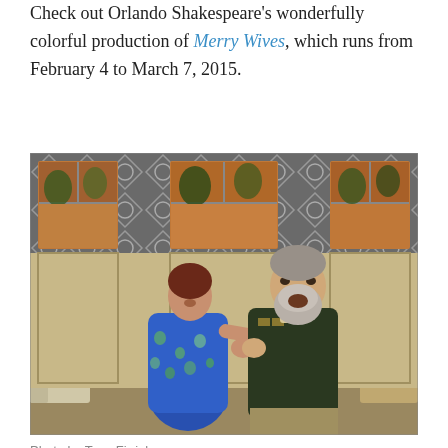Check out Orlando Shakespeare's wonderfully colorful production of Merry Wives, which runs from February 4 to March 7, 2015.
[Figure (photo): A theatrical production photo showing two performers on stage. A woman in a blue floral dress and a large bearded man in a military-style dark jacket are shown in an expressive scene. The stage set features a decorative wall with window-like grid patterns and painted backdrops visible through the windows.]
Photo by Tony Firriolo.